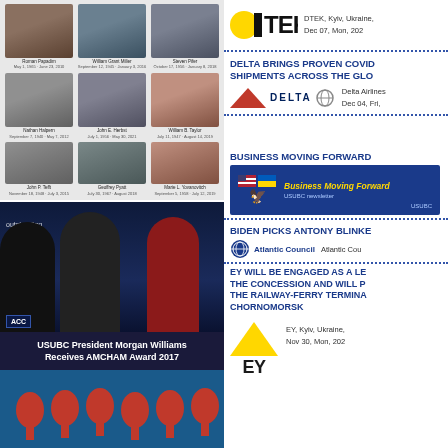[Figure (photo): Grid of 6 board member photos from U.S.-Ukraine Business Council (USUBC), Washington DC with names below each photo and USUBC logos on sides]
[Figure (photo): Photo of USUBC President Morgan Williams receiving AMCHAM Award 2017 on stage with other people, ACC logo visible]
USUBC President Morgan Williams Receives AMCHAM Award 2017
[Figure (photo): Decorative bottom image with blue background and red onion dome shapes]
[Figure (logo): DTEK logo with yellow circle O]
DTEK, Kyiv, Ukraine,
Dec 07, Mon, 202
DELTA BRINGS PROVEN COVID SHIPMENTS ACROSS THE GLO
[Figure (logo): Delta Airlines logo with red triangle and DELTA wordmark]
Delta Airlines
Dec 04, Fri,
BUSINESS MOVING FORWARD
[Figure (screenshot): Business Moving Forward USUBC newsletter banner with blue background, eagle logo, Ukrainian and US flags, yellow italic title text]
BIDEN PICKS ANTONY BLINKE
[Figure (logo): Atlantic Council globe logo]
Atlantic Cou
EY WILL BE ENGAGED AS A LE THE CONCESSION AND WILL P THE RAILWAY-FERRY TERMINA CHORNOMORSK
[Figure (logo): EY logo with yellow triangle and EY wordmark]
EY, Kyiv, Ukraine,
Nov 30, Mon, 202